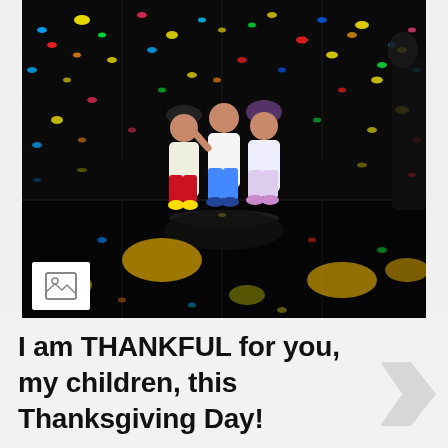[Figure (photo): Three children posing together in a mirror infinity room with colorful glowing light dots (yellow, blue, red, green, pink) floating all around them and reflecting endlessly in the mirrors. The floor is black and reflective. A partial silhouette of another person appears on the right edge. A small image icon with a mountain/picture symbol appears in the lower-left corner of the photo.]
I am THANKFUL for you, my children, this Thanksgiving Day!